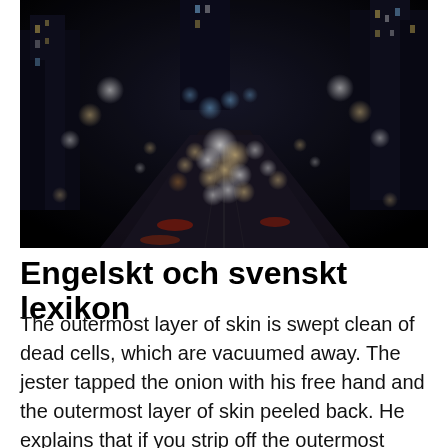[Figure (photo): Night cityscape photograph showing a busy highway or urban road with blurred bokeh lights from vehicles and city buildings in the background. Dark, moody atmosphere with orange, white and blue light orbs.]
Engelskt och svenskt lexikon
The outermost layer of skin is swept clean of dead cells, which are vacuumed away. The jester tapped the onion with his free hand and the outermost layer of skin peeled back. He explains that if you strip off the outermost layers, frequently they are as good as